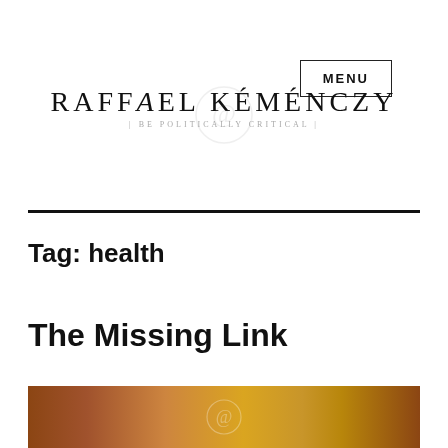MENU
RAFFAEL KÉMÉNCZY | BE POLITICALLY CRITICAL
Tag: health
The Missing Link
[Figure (photo): A warm amber/orange-toned textured image strip, possibly a close-up of wood, stone, or organic material with warm brown and golden tones, with a faint watermark in the center.]